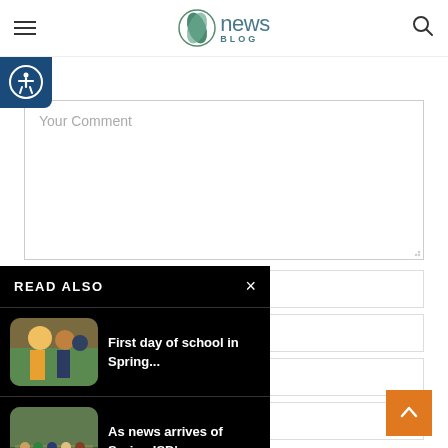news BLOG
[Figure (screenshot): Accessibility icon button (person in circle) on dark blue background]
Your Comment
READ ALSO
[Figure (photo): Students on first day of school, adult greeting child]
First day of school in Spring...
[Figure (photo): Crowd gathered outdoors for Spring ISD event]
As news arrives of Spring ISD's...
[Figure (photo): Summer graduates in caps and gowns at Spring ISD ceremony]
Summer graduates of the Spring ISD...